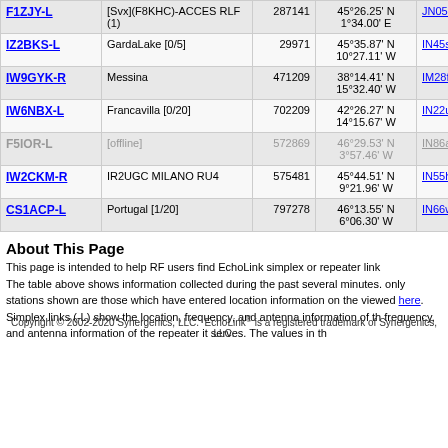| Callsign | Location | Node | Coordinates | Grid | Dist |
| --- | --- | --- | --- | --- | --- |
| F1ZJY-L | [Svx](F8KHC)-ACCES RLF (1) | 287141 | 45°26.25' N 1°34.00' E | JN05sk | 11846.5 |
| IZ2BKS-L | GardaLake [0/5] | 29971 | 45°35.87' N 10°27.11' W | IN45so | 11846.8 |
| IW9GYK-R | Messina | 471209 | 38°14.41' N 15°32.40' W | IM28ff | 11856.7 |
| IW6NBX-L | Francavilla [0/20] | 702209 | 42°26.27' N 14°15.67' W | IN22uk | 11857.5 |
| F5IOR-L | [offline] | 572869 | 46°29.53' N 3°57.46' W | IN86al | 11863.5 |
| IW2CKM-R | IR2UGC MILANO RU4 | 575481 | 45°44.51' N 9°21.96' W | IN55hr | 11863.5 |
| CS1ACP-L | Portugal [1/20] | 797278 | 46°13.55' N 6°06.30' W | IN66wf | 11877.9 |
About This Page
This page is intended to help RF users find EchoLink simplex or repeater link
The table above shows information collected during the past several minutes. only stations shown are those which have entered location information on the viewed here.
Simplex links (-L) show the location, frequency, and antenna information of the frequency, and antenna information of the repeater it serves. The values in th
Copyright © 2002-2020 Synergenics, LLC. EchoLink® is a registered trademark of Synergenics, LLC.